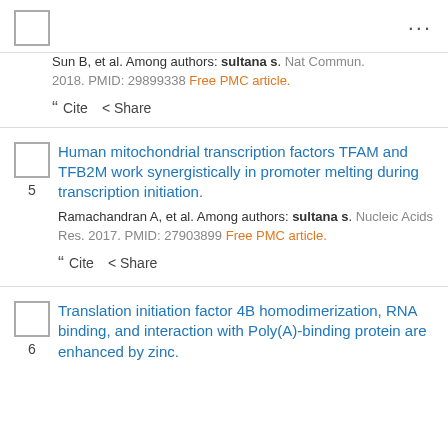Sun B, et al. Among authors: sultana s. Nat Commun. 2018. PMID: 29899338 Free PMC article.
Cite  Share
5. Human mitochondrial transcription factors TFAM and TFB2M work synergistically in promoter melting during transcription initiation. Ramachandran A, et al. Among authors: sultana s. Nucleic Acids Res. 2017. PMID: 27903899 Free PMC article. Cite  Share
6. Translation initiation factor 4B homodimerization, RNA binding, and interaction with Poly(A)-binding protein are enhanced by zinc.